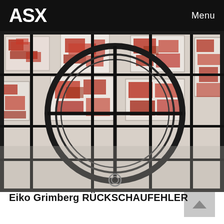ASX   Menu
[Figure (photo): Art installation photo showing a large circular metal frame structure against a grid of black metal bars, with red-printed paper artworks arranged on a white wall background behind it. The prints feature abstract red ink patterns on white paper.]
Eiko Grimberg RÜCKSCHAUFEHLER